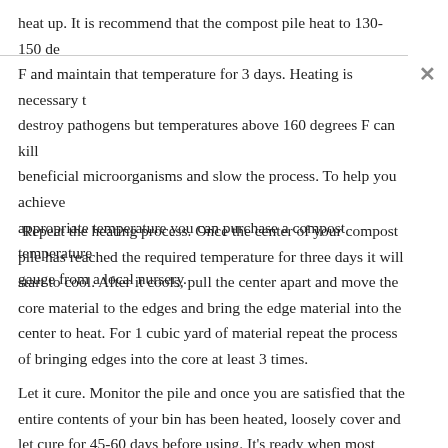heat up.  It is recommend that the compost pile heat to 130-150 degrees F and maintain that temperature for 3 days.  Heating is necessary to destroy pathogens but temperatures above 160 degrees F can kill beneficial microorganisms and slow the process.  To help you achieve appropriate temperature you can purchase a compost temperature gauge from a local nursery.
Repeat the heating process.  Once the center of your compost pile has reached the required temperature for three days it will start to cool.  After it cools, pull the center apart and move the core material to the edges and bring the edge material into the center to heat.  For 1 cubic yard of material repeat the process of bringing edges into the core at least 3 times.
Let it cure.  Monitor the pile and once you are satisfied that the entire contents of your bin has been heated, loosely cover and let cure for 45-60 days before using.  It's ready when most material is dark, crumbly